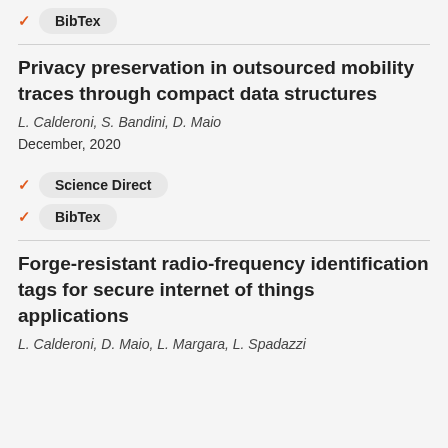✓ BibTex
Privacy preservation in outsourced mobility traces through compact data structures
L. Calderoni, S. Bandini, D. Maio
December, 2020
✓ Science Direct
✓ BibTex
Forge-resistant radio-frequency identification tags for secure internet of things applications
L. Calderoni, D. Maio, L. Margara, L. Spadazzi